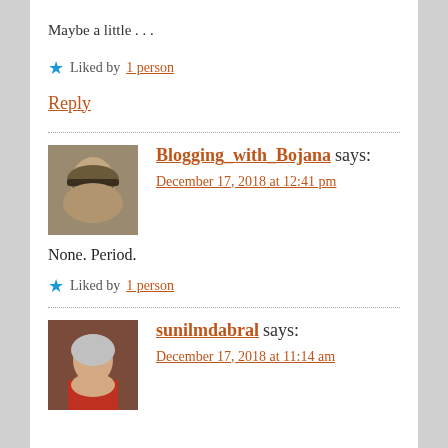Maybe a little . . .
★ Liked by 1 person
Reply
Blogging_with_Bojana says: December 17, 2018 at 12:41 pm
None. Period.
★ Liked by 1 person
sunilmdabral says: December 17, 2018 at 11:14 am